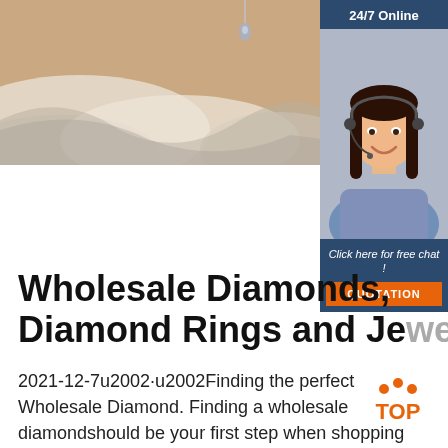[Figure (photo): Hero banner image showing draped white/silver fabric with a pendant necklace at the top, warm beige/salmon background]
[Figure (photo): 24/7 Online chat widget showing a woman with headset smiling, dark hair, blue shirt, with 'Click here for free chat!' text and orange QUOTATION button]
Wholesale Diamonds, Diamond Rings and Jewellery
2021-12-7u2002·u2002Finding the perfect Wholesale Diamond. Finding a wholesale diamondshould be your first step when shopping for a diamond engagement ring, a necklace, or a pair of
[Figure (logo): TOP badge with orange dots above and orange TOP text]